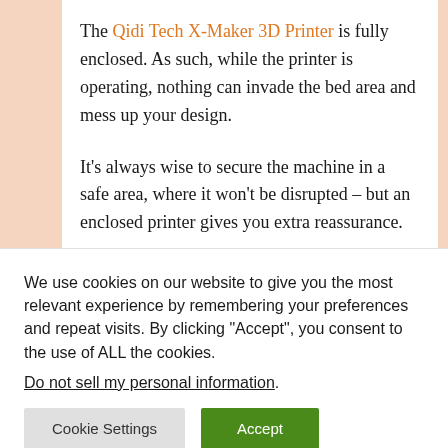The Qidi Tech X-Maker 3D Printer is fully enclosed. As such, while the printer is operating, nothing can invade the bed area and mess up your design.
It's always wise to secure the machine in a safe area, where it won't be disrupted – but an enclosed printer gives you extra reassurance.
We use cookies on our website to give you the most relevant experience by remembering your preferences and repeat visits. By clicking "Accept", you consent to the use of ALL the cookies.
Do not sell my personal information.